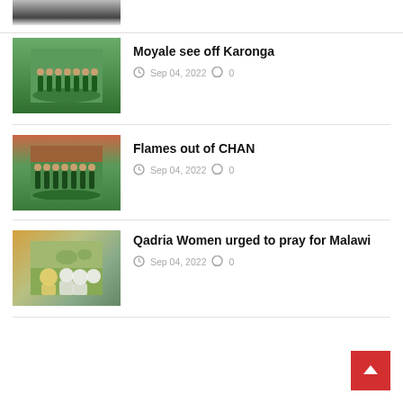[Figure (photo): Partial photo of a person in a suit with red tie, cropped at top]
Moyale see off Karonga
Sep 04, 2022   0
[Figure (photo): Football team in green jerseys posing outdoors]
Flames out of CHAN
Sep 04, 2022   0
[Figure (photo): Football team in green jerseys posing on a field with stadium in background]
Qadria Women urged to pray for Malawi
Sep 04, 2022   0
[Figure (photo): Group of women in hijabs outdoors with trees in background]